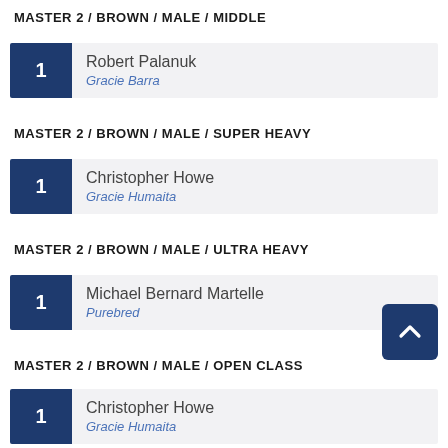MASTER 2 / BROWN / MALE / MIDDLE
| Rank | Athlete | Team |
| --- | --- | --- |
| 1 | Robert Palanuk | Gracie Barra |
MASTER 2 / BROWN / MALE / SUPER HEAVY
| Rank | Athlete | Team |
| --- | --- | --- |
| 1 | Christopher Howe | Gracie Humaita |
MASTER 2 / BROWN / MALE / ULTRA HEAVY
| Rank | Athlete | Team |
| --- | --- | --- |
| 1 | Michael Bernard Martelle | Purebred |
MASTER 2 / BROWN / MALE / OPEN CLASS
| Rank | Athlete | Team |
| --- | --- | --- |
| 1 | Christopher Howe | Gracie Humaita |